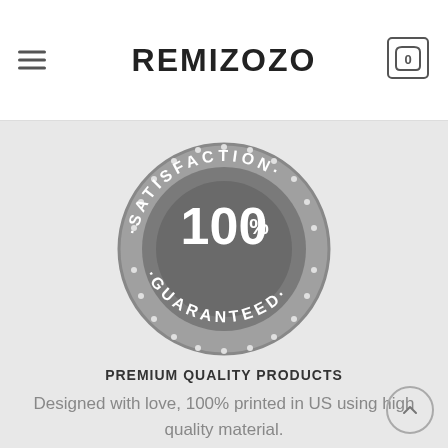REMIZOZO
[Figure (illustration): Circular satisfaction guarantee badge in grey tones. Outer ring with dots, text 'SATISFACTION' on top arc and 'GUARANTEED' on bottom arc, with '100%' large in the center.]
PREMIUM QUALITY PRODUCTS
Designed with love, 100% printed in US using high quality material.